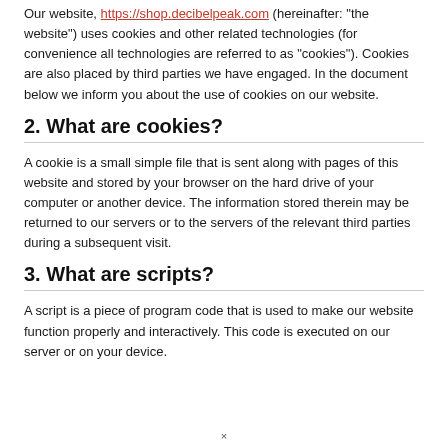Our website, https://shop.decibelpeak.com (hereinafter: "the website") uses cookies and other related technologies (for convenience all technologies are referred to as "cookies"). Cookies are also placed by third parties we have engaged. In the document below we inform you about the use of cookies on our website.
2. What are cookies?
A cookie is a small simple file that is sent along with pages of this website and stored by your browser on the hard drive of your computer or another device. The information stored therein may be returned to our servers or to the servers of the relevant third parties during a subsequent visit.
3. What are scripts?
A script is a piece of program code that is used to make our website function properly and interactively. This code is executed on our server or on your device.